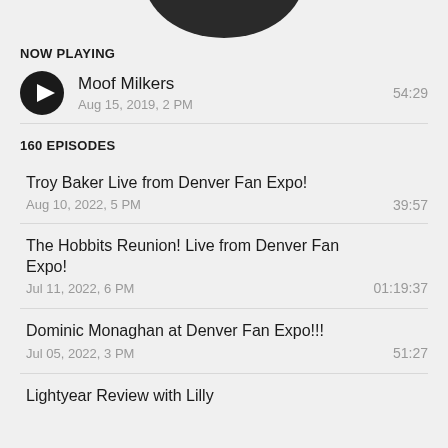[Figure (illustration): Partial circular podcast/album artwork visible at top of screen, dark colored]
NOW PLAYING
Moof Milkers
Aug 15, 2019, 2 PM	54:29
160 EPISODES
Troy Baker Live from Denver Fan Expo!
Aug 10, 2022, 5 PM	39:57
The Hobbits Reunion! Live from Denver Fan Expo!
Jul 11, 2022, 6 PM	01:19:37
Dominic Monaghan at Denver Fan Expo!!!
Jul 05, 2022, 3 PM	51:27
Lightyear Review with Lilly